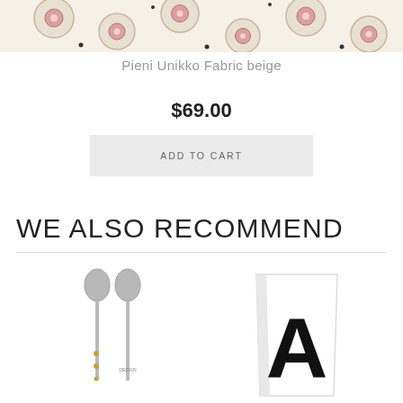[Figure (photo): Pieni Unikko fabric pattern with beige/cream background and pink/rose floral motif, cropped at top of page]
Pieni Unikko Fabric beige
$69.00
ADD TO CART
WE ALSO RECOMMEND
[Figure (photo): Two gray spoons with decorative handles, one with gold dots pattern]
[Figure (photo): White cup/mug with large black letter A printed on it]